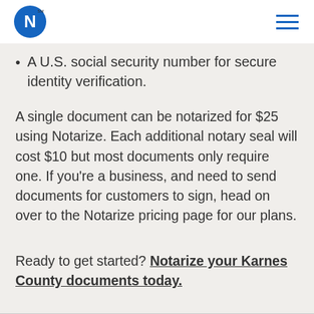Notarize logo and navigation
A U.S. social security number for secure identity verification.
A single document can be notarized for $25 using Notarize. Each additional notary seal will cost $10 but most documents only require one. If you're a business, and need to send documents for customers to sign, head on over to the Notarize pricing page for our plans.
Ready to get started? Notarize your Karnes County documents today.